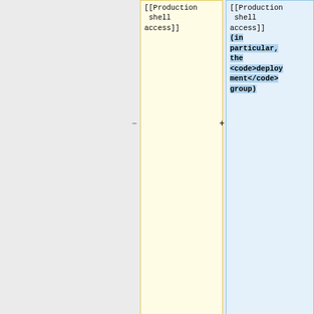[[Production shell access]]
[[Production shell access]] (in particular, the <code>deployment</code> group)
* Access to merge changes in wmf deploy branches (including mediawiki-config) by being added to the [https://gerrit.wikimedi
* Access to merge changes in wmf deploy branches (including mediawiki-config) by being added to the [https://gerrit.wikimedi